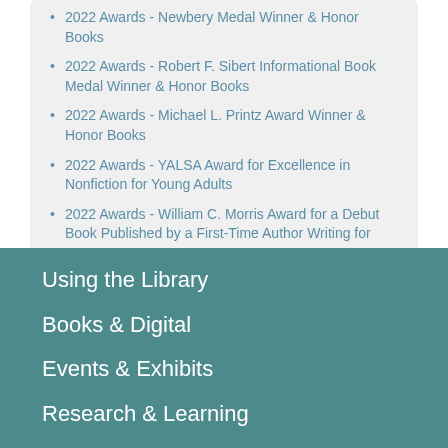2022 Awards - Newbery Medal Winner & Honor Books
2022 Awards - Robert F. Sibert Informational Book Medal Winner & Honor Books
2022 Awards - Michael L. Printz Award Winner & Honor Books
2022 Awards - YALSA Award for Excellence in Nonfiction for Young Adults
2022 Awards - William C. Morris Award for a Debut Book Published by a First-Time Author Writing for Teens
Using the Library
Books & Digital
Events & Exhibits
Research & Learning
Kids